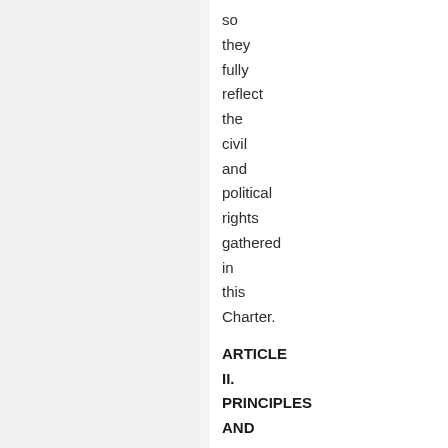so
they
fully
reflect
the
civil
and
political
rights
gathered
in
this
Charter.
ARTICLE II. PRINCIPLES AND STRATEGIC FOUNDATIONS OF THE RIGHT TO